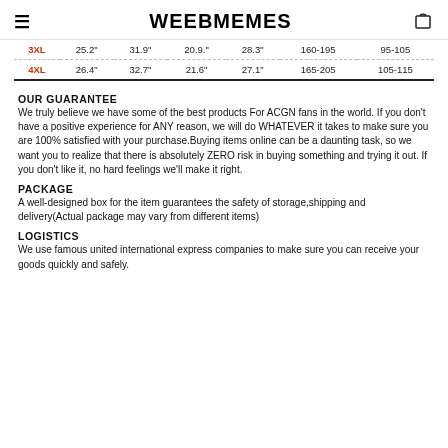WEEBMEMES
| 3XL | 25.2" | 31.9" | 20.9" | 28.3" | 160-195 | 95-105 |
| 4XL | 26.4" | 32.7" | 21.6" | 27.1" | 165-205 | 105-115 |
OUR GUARANTEE
We truly believe we have some of the best products For ACGN fans in the world. If you don't have a positive experience for ANY reason, we will do WHATEVER it takes to make sure you are 100% satisfied with your purchase.Buying items online can be a daunting task, so we want you to realize that there is absolutely ZERO risk in buying something and trying it out. If you don't like it, no hard feelings we'll make it right.
PACKAGE
A well-designed box for the item guarantees the safety of storage,shipping and delivery(Actual package may vary from different items)
LOGISTICS
We use famous united international express companies to make sure you can receive your goods quickly and safely.